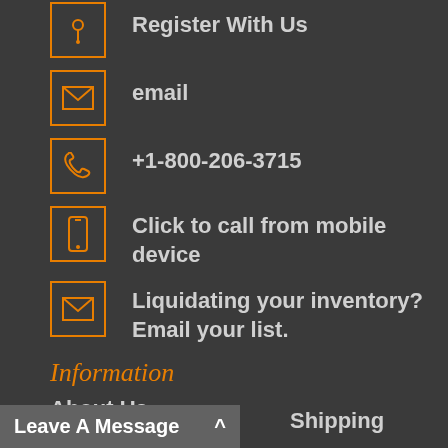Register With Us
email
+1-800-206-3715
Click to call from mobile device
Liquidating your inventory? Email your list.
Information
About Us
Layaway
U.S. & Canada Shipping
Shipping
Leave A Message ^